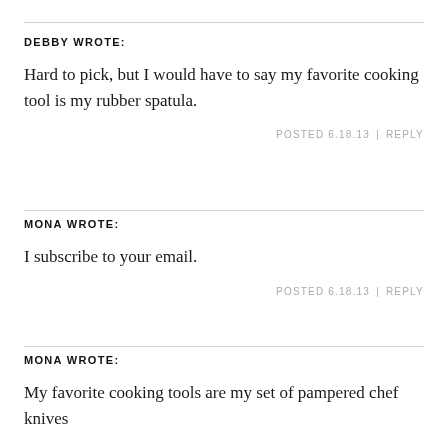DEBBY WROTE:
Hard to pick, but I would have to say my favorite cooking tool is my rubber spatula.
POSTED 6.18.13  |  REPLY
MONA WROTE:
I subscribe to your email.
POSTED 6.18.13  |  REPLY
MONA WROTE:
My favorite cooking tools are my set of pampered chef knives